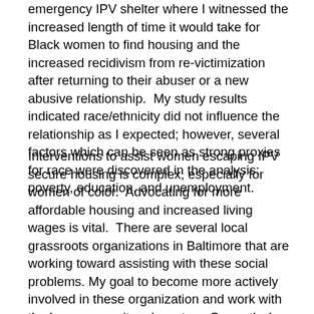emergency IPV shelter where I witnessed the increased length of time it would take for Black women to find housing and the increased recidivism from re-victimization after returning to their abuser or a new abusive relationship.  My study results indicated race/ethnicity did not influence the relationship as I expected; however, several factors which can be seen as strong proxies for race were discovered in the analysis: poverty, education, and unemployment.
Interventions to assist women escaping IPV secure housing is complex, especially for women of color.  Advocating for more affordable housing and increased living wages is vital.  There are several local grassroots organizations in Baltimore that are working toward assisting with these social problems. My goal to become more actively involved in these organization and work with the key community advocates.  Currently, I am focusing on expanding the Passport to Freedom program for formerly homeless women who now have permanent housing through a supportive housing program to test the program's effectiveness with developing increased self-efficacy to manage one's health and maintain stable